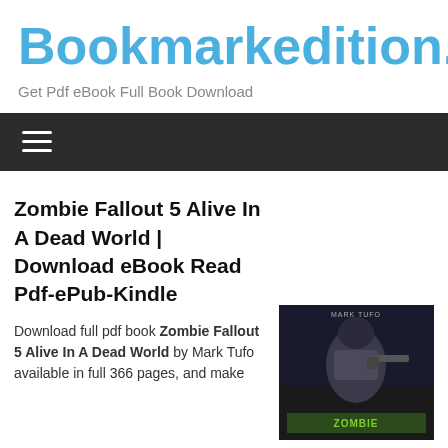Bookmarkedition.
Get Pdf eBook Full Book Download
[Figure (screenshot): Dark navigation bar with hamburger menu icon (three horizontal white lines)]
Zombie Fallout 5 Alive In A Dead World | Download eBook Read Pdf-ePub-Kindle
[Figure (photo): Book cover of Zombie Fallout by Mark Tufo showing a soldier in dark armor]
Download full pdf book Zombie Fallout 5 Alive In A Dead World by Mark Tufo available in full 366 pages, and make